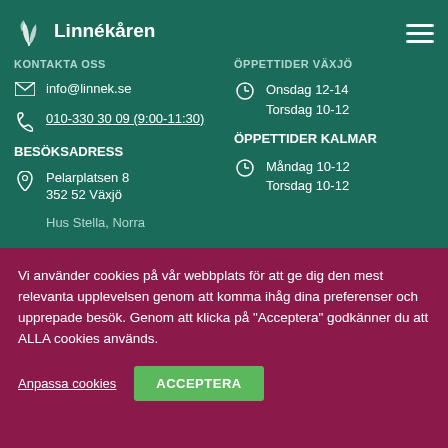[Figure (logo): Linnékåren logo with leaf/plant SVG icon and text 'Linnékåren']
KONTAKTA OSS
info@linnek.se
010-330 30 09 (9:00-11:30)
BESÖKSADRESS
Pelarplatsen 8
352 52 Växjö
Hus Stella, Norra
ÖPPETTIDER VÄXJÖ
Onsdag 12-14
Torsdag 10-12
ÖPPETTIDER KALMAR
Måndag 10-12
Torsdag 10-12
Vi använder cookies på vår webbplats för att ge dig den mest relevanta upplevelsen genom att komma ihåg dina preferenser och upprepade besök. Genom att klicka på "Acceptera" godkänner du att ALLA cookies används.
Anpassa cookies
ACCEPTERA